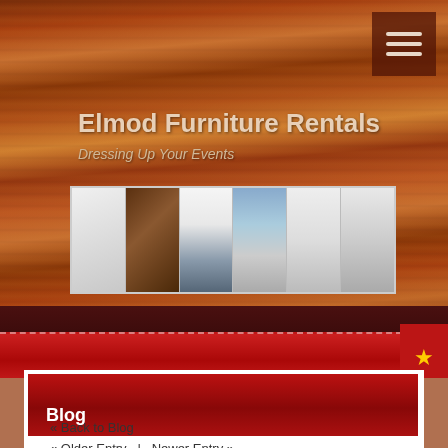Elmod Furniture Rentals
Dressing Up Your Events
[Figure (photo): Horizontal gallery strip showing 6 furniture/event photos: white armchair, dining table set, white tent, outdoor patio setup, white sofa/bed, bar stools]
Blog
« Back to Blog
« Older Entry  |  Newer Entry »